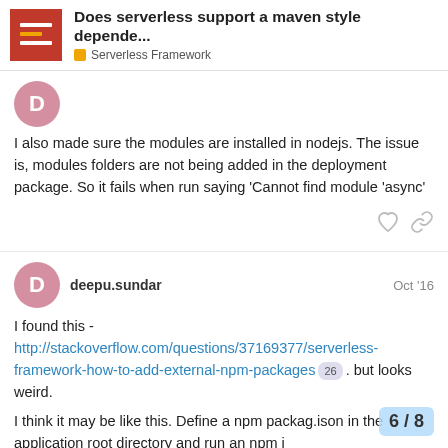Does serverless support a maven style depende... | Serverless Framework
I also made sure the modules are installed in nodejs. The issue is, modules folders are not being added in the deployment package. So it fails when run saying 'Cannot find module ‘async’
deepu.sundar  Oct '16
I found this - http://stackoverflow.com/questions/37169377/serverless-framework-how-to-add-external-npm-packages 26 . but looks weird.
I think it may be like this. Define a npm packag ison in the application root directory and run an npm i download all dependencies. This will creat